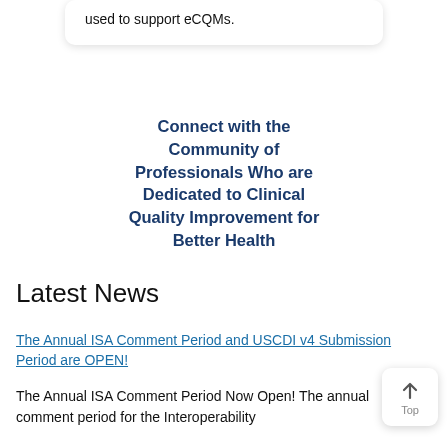used to support eCQMs.
Connect with the Community of Professionals Who are Dedicated to Clinical Quality Improvement for Better Health
Latest News
The Annual ISA Comment Period and USCDI v4 Submission Period are OPEN!
The Annual ISA Comment Period Now Open! The annual comment period for the Interoperability